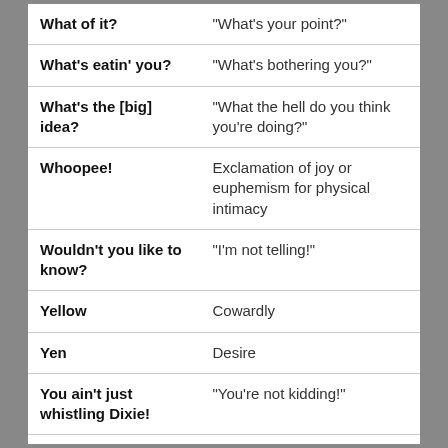| Term | Meaning |
| --- | --- |
| What of it? | “What’s your point?” |
| What’s eatin’ you? | “What’s bothering you?” |
| What’s the [big] idea? | “What the hell do you think you’re doing?” |
| Whoopee! | Exclamation of joy or euphemism for physical intimacy |
| Wouldn’t you like to know? | “I’m not telling!” |
| Yellow | Cowardly |
| Yen | Desire |
| You ain’t just whistling Dixie! | “You’re not kidding!” |